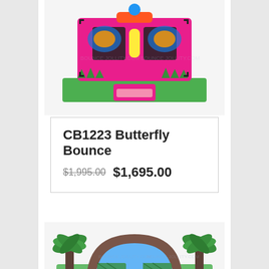[Figure (photo): Pink butterfly-themed inflatable bounce house, front view showing butterfly decoration, green base, pink entrance ramp]
CB1223 Butterfly Bounce
$1,995.00  $1,695.00
[Figure (photo): Tropical/jungle themed inflatable bounce house with palm trees, brown arched entrance, blue and green panels]